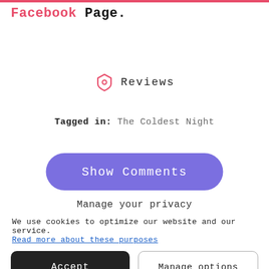Facebook Page.
[Figure (illustration): A pink tag/label icon followed by the word 'Reviews' in a spaced monospace font]
Tagged in: The Coldest Night
Show Comments
Manage your privacy
We use cookies to optimize our website and our service.
Read more about these purposes
Accept
Manage options